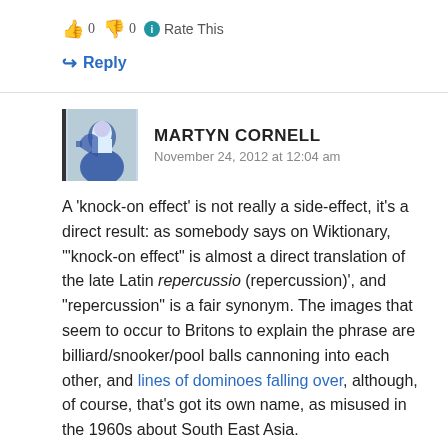👍 0 👎 0 ℹ Rate This
↪ Reply
MARTYN CORNELL
November 24, 2012 at 12:04 am
A 'knock-on effect' is not really a side-effect, it's a direct result: as somebody says on Wiktionary, '"knock-on effect" is almost a direct translation of the late Latin repercussio (repercussion)', and "repercussion" is a fair synonym. The images that seem to occur to Britons to explain the phrase are billiard/snooker/pool balls cannoning into each other, and lines of dominoes falling over, although, of course, that's got its own name, as misused in the 1960s about South East Asia.
👍 2 👎 0 ℹ Rate This